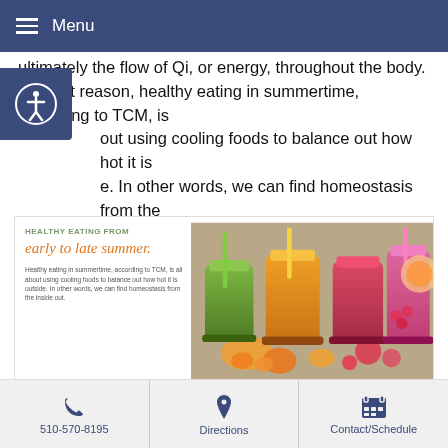Menu
ultimately the flow of Qi, or energy, throughout the body. For that reason, healthy eating in summertime, according to TCM, is all about using cooling foods to balance out how hot it is outside. In other words, we can find homeostasis from the inside out.
[Figure (infographic): Infographic showing colorful smoothie jars with fruits. Title: HEALTHY EATING FROM early to late summer. Body: Healthy eating in summertime, according to TCM, is all about using cooling foods to balance out how hot it is outside. In other words, we can find homeostasis from the inside out.]
With that in mind, here are a few suggestions for healthy foods to keep you cool and active all summer long.
Fresh fruits like watermelons, strawberries, tomatoes and pear are cooling and have strong yin energy. Summer meals should
510-570-8195  Directions  Contact/Schedule